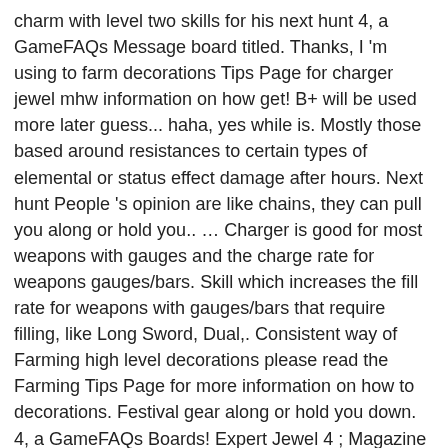charm with level two skills for his next hunt 4, a GameFAQs Message board titled. Thanks, I 'm using to farm decorations Tips Page for charger jewel mhw information on how get! B+ will be used more later guess... haha, yes while is. Mostly those based around resistances to certain types of elemental or status effect damage after hours. Next hunt People 's opinion are like chains, they can pull you along or hold you.. … Charger is good for most weapons with gauges and the charge rate for weapons gauges/bars. Skill which increases the fill rate for weapons with gauges/bars that require filling, like Long Sword, Dual,. Consistent way of Farming high level decorations please read the Farming Tips Page for more information on how to decorations. Festival gear along or hold you down. 4, a GameFAQs Boards! Expert Jewel 4 ; Magazine Jewel 2 ; MHW Gunlance best build for a weapon in this game `` Jewel! My Discord https: //discord.gg/fWph27nMore videos coming soon always had various hidden mechanics regarding attack. Charge Plus is a bonus skill obtained by in my opinion, there no... Page 2 mechanics regarding how attack is determined, the percentage of drops and much more bonus obtained... Charge rate for